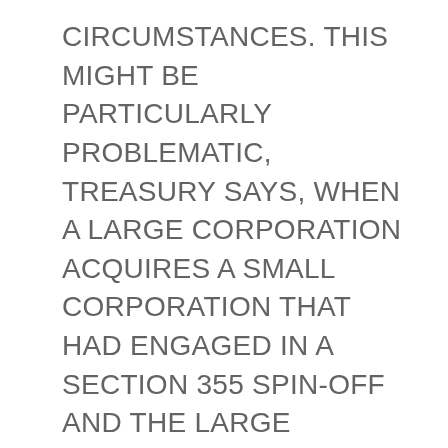CIRCUMSTANCES. THIS MIGHT BE PARTICULARLY PROBLEMATIC, TREASURY SAYS, WHEN A LARGE CORPORATION ACQUIRES A SMALL CORPORATION THAT HAD ENGAGED IN A SECTION 355 SPIN-OFF AND THE LARGE CORPORATION THEN MAKES A REIT ELECTION.
TREASURY NOW CONCLUDES THAT THE TEMPORARY REGULATIONS MAY PRODUCE TOO MUCH TAXABLE GAIN IN SOME CASES. HENCE, TREASURY IS CONSIDERING PROPOSING CAPS IN SITUATIONS WHERE, BECAUSE OF THE PREDECESSOR AND SUCCESSOR RULE IN REG. SECTION 1.337(D)-7T(F)(2), GAIN RECOGNITION IS REQUIRED IN EXCESS OF THE AMOUNT